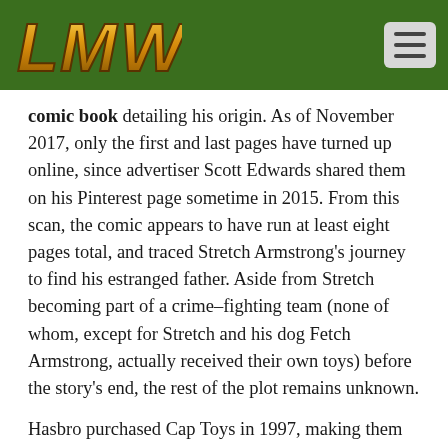LMW logo and navigation
comic book detailing his origin. As of November 2017, only the first and last pages have turned up online, since advertiser Scott Edwards shared them on his Pinterest page sometime in 2015. From this scan, the comic appears to have run at least eight pages total, and traced Stretch Armstrong’s journey to find his estranged father. Aside from Stretch becoming part of a crime–fighting team (none of whom, except for Stretch and his dog Fetch Armstrong, actually received their own toys) before the story’s end, the rest of the plot remains unknown.
Hasbro purchased Cap Toys in 1997, making them the current owners of the Stretch Armstrong trademark (and through an earlier merger with Kenner’s parent company Tonka, the owners of all of